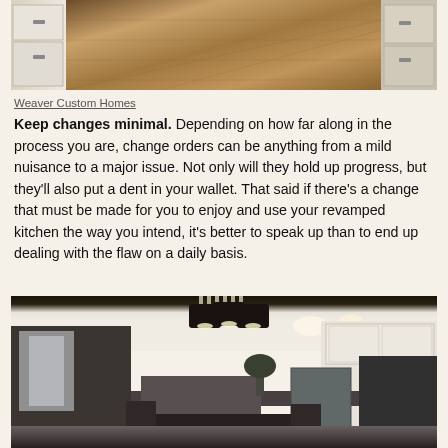[Figure (photo): Kitchen cabinets and hardwood floor viewed from hallway perspective, white/cream cabinetry with dark hardware]
Weaver Custom Homes
Keep changes minimal. Depending on how far along in the process you are, change orders can be anything from a mild nuisance to a major issue. Not only will they hold up progress, but they'll also put a dent in your wallet. That said if there's a change that must be made for you to enjoy and use your revamped kitchen the way you intend, it's better to speak up than to end up dealing with the flaw on a daily basis.
[Figure (photo): Modern kitchen interior with large black drum chandelier, white cabinets, kitchen island, and stainless steel appliances]